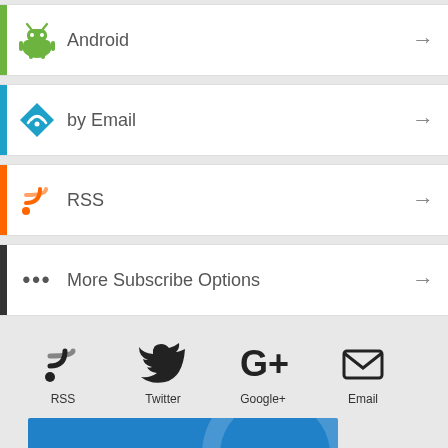Android
by Email
RSS
More Subscribe Options
[Figure (infographic): Social follow icons: RSS, Twitter, Google+, Email with labels below each icon]
[Figure (infographic): Blue promotional banner with text: Podcaster's recipe for success]